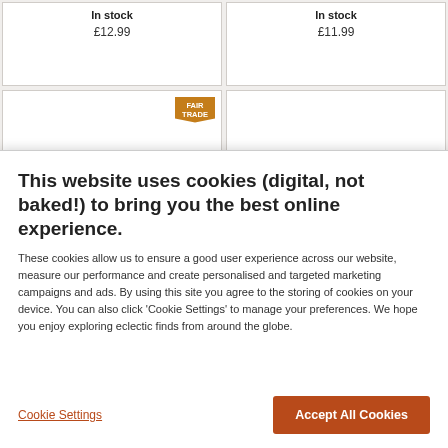In stock
£12.99
In stock
£11.99
[Figure (other): Product card with FAIR TRADE badge]
[Figure (other): Empty product card]
This website uses cookies (digital, not baked!) to bring you the best online experience.
These cookies allow us to ensure a good user experience across our website, measure our performance and create personalised and targeted marketing campaigns and ads. By using this site you agree to the storing of cookies on your device. You can also click 'Cookie Settings' to manage your preferences. We hope you enjoy exploring eclectic finds from around the globe.
Cookie Settings
Accept All Cookies